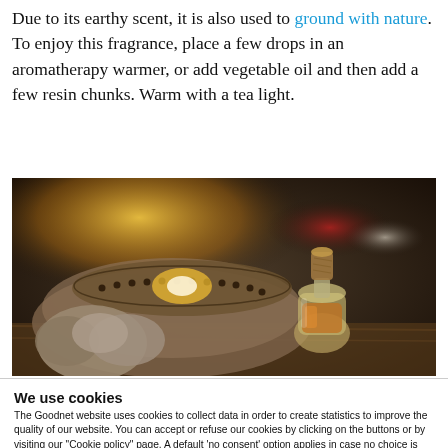Due to its earthy scent, it is also used to ground with nature. To enjoy this fragrance, place a few drops in an aromatherapy warmer, or add vegetable oil and then add a few resin chunks. Warm with a tea light.
[Figure (photo): A small glass bottle with a cork stopper containing amber liquid (essential oil or resin oil), placed next to a decorative bowl with beads and a lit candle, on a wooden surface with dark background.]
We use cookies
The Goodnet website uses cookies to collect data in order to create statistics to improve the quality of our website. You can accept or refuse our cookies by clicking on the buttons or by visiting our "Cookie policy" page. A default 'no consent' option applies in case no choice is made. If you would like to know more about our cookie policy, please click on the "Show details" link below or visit our "Cookie Policy" page.